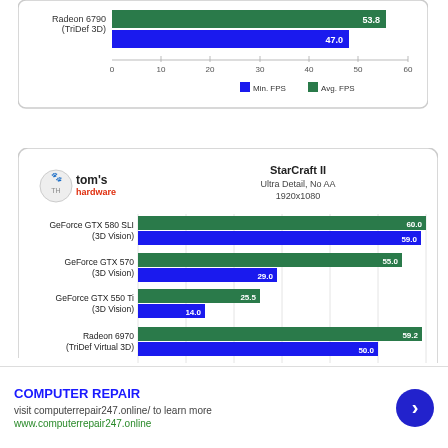[Figure (grouped-bar-chart): Partial chart (Radeon 6790)]
[Figure (grouped-bar-chart): StarCraft II Ultra Detail, No AA 1920x1080]
COMPUTER REPAIR
visit computerrepair247.online/ to learn more
www.computerrepair247.online